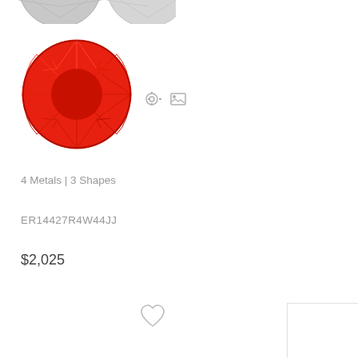[Figure (illustration): Two partially cropped gray gem/diamond circle icons at the top]
[Figure (illustration): Red faceted gemstone (ruby) round brilliant cut icon]
[Figure (illustration): Small gear/settings icon and small image/photo icon next to gem]
4 Metals | 3 Shapes
ER14427R4W44JJ
$2,025
[Figure (illustration): Heart/favorite outline icon (left center bottom area)]
[Figure (illustration): Heart/favorite outline icon (right bottom area)]
[Figure (illustration): Partial white product card visible at bottom right corner]